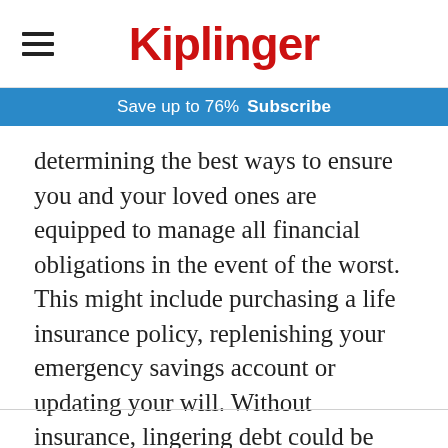Kiplinger
Save up to 76%  Subscribe
determining the best ways to ensure you and your loved ones are equipped to manage all financial obligations in the event of the worst. This might include purchasing a life insurance policy, replenishing your emergency savings account or updating your will. Without insurance, lingering debt could be passed onto a loved one should something happen — ensuring they are protected and able to manage those costs can make a huge difference.